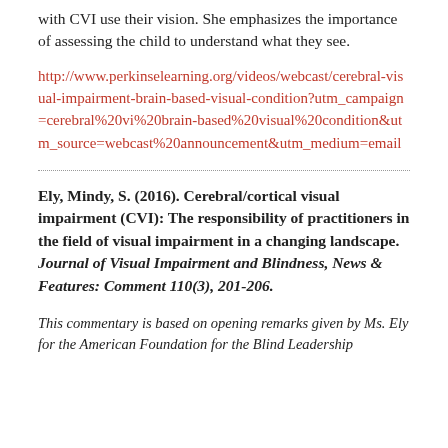with CVI use their vision. She emphasizes the importance of assessing the child to understand what they see.
http://www.perkinselearning.org/videos/webcast/cerebral-visual-impairment-brain-based-visual-condition?utm_campaign=cerebral%20vi%20brain-based%20visual%20condition&utm_source=webcast%20announcement&utm_medium=email
Ely, Mindy, S. (2016). Cerebral/cortical visual impairment (CVI): The responsibility of practitioners in the field of visual impairment in a changing landscape. Journal of Visual Impairment and Blindness, News & Features: Comment 110(3), 201-206.
This commentary is based on opening remarks given by Ms. Ely for the American Foundation for the Blind Leadership